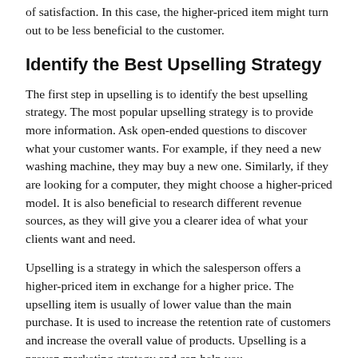of satisfaction. In this case, the higher-priced item might turn out to be less beneficial to the customer.
Identify the Best Upselling Strategy
The first step in upselling is to identify the best upselling strategy. The most popular upselling strategy is to provide more information. Ask open-ended questions to discover what your customer wants. For example, if they need a new washing machine, they may buy a new one. Similarly, if they are looking for a computer, they might choose a higher-priced model. It is also beneficial to research different revenue sources, as they will give you a clearer idea of what your clients want and need.
Upselling is a strategy in which the salesperson offers a higher-priced item in exchange for a higher price. The upselling item is usually of lower value than the main purchase. It is used to increase the retention rate of customers and increase the overall value of products. Upselling is a proven marketing strategy and can help you boost your profits. If you want to increase revenue and...